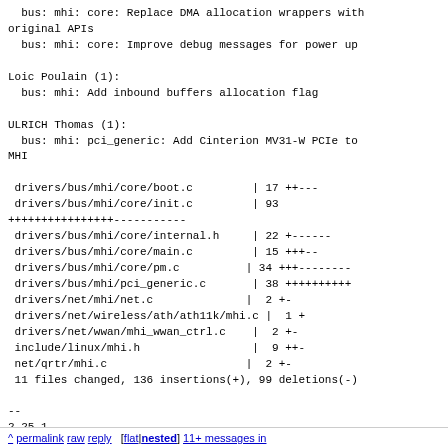bus: mhi: core: Replace DMA allocation wrappers with original APIs
  bus: mhi: core: Improve debug messages for power up

Loic Poulain (1):
  bus: mhi: Add inbound buffers allocation flag

ULRICH Thomas (1):
  bus: mhi: pci_generic: Add Cinterion MV31-W PCIe to MHI

 drivers/bus/mhi/core/boot.c          | 17 ++---
 drivers/bus/mhi/core/init.c          | 93
+++++++++++++++++-----------
 drivers/bus/mhi/core/internal.h     | 22 +------
 drivers/bus/mhi/core/main.c          | 15 +++--
 drivers/bus/mhi/core/pm.c           | 34 +++--------
 drivers/bus/mhi/pci_generic.c        | 38 ++++++++++
 drivers/net/mhi/net.c               |  2 +-
 drivers/net/wireless/ath/ath11k/mhi.c |  1 +
 drivers/net/wwan/mhi_wwan_ctrl.c     |  2 +-
 include/linux/mhi.h                  |  9 ++-
 net/qrtr/mhi.c                      |  2 +-
 11 files changed, 136 insertions(+), 99 deletions(-)

--
2.25.1
^ permalink raw reply  [flat|nested] 11+ messages in